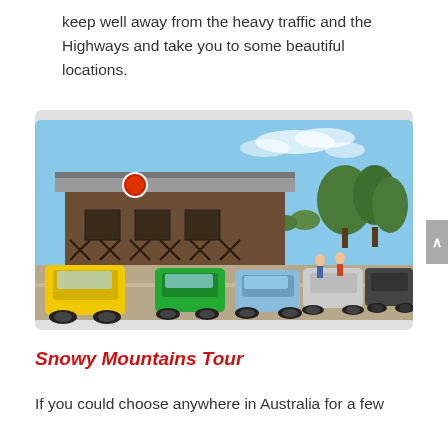keep well away from the heavy traffic and the Highways and take you to some beautiful locations.
[Figure (photo): A group of Porsche sports cars (yellow, green, blue, silver, black) parked and driving in front of a rural Australian pub/hotel building with a red circular sign, trees in background, blue sky.]
Snowy Mountains Tour
If you could choose anywhere in Australia for a few